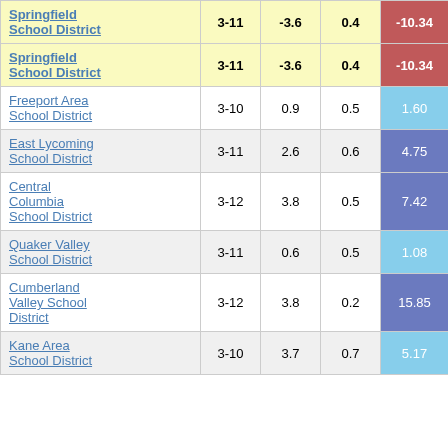| School District | Grades | Col3 | Col4 | Score |
| --- | --- | --- | --- | --- |
| Springfield School District | 3-11 | -3.6 | 0.4 | -10.34 |
| Springfield School District | 3-11 | -3.6 | 0.4 | -10.34 |
| Freeport Area School District | 3-10 | 0.9 | 0.5 | 1.60 |
| East Lycoming School District | 3-11 | 2.6 | 0.6 | 4.75 |
| Central Columbia School District | 3-12 | 3.8 | 0.5 | 7.42 |
| Quaker Valley School District | 3-11 | 0.6 | 0.5 | 1.08 |
| Cumberland Valley School District | 3-12 | 3.8 | 0.2 | 15.85 |
| Kane Area School District | 3-10 | 3.7 | 0.7 | 5.17 |